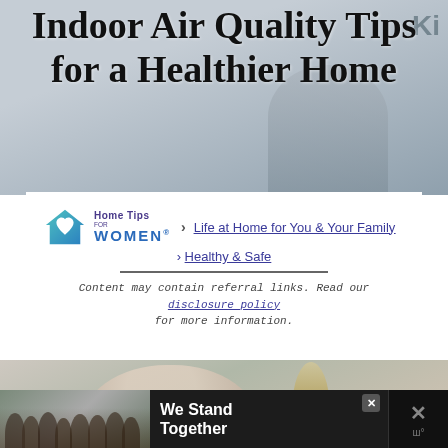Indoor Air Quality Tips for a Healthier Home
[Figure (photo): Hero banner photo showing a person sitting on a floor with flooring materials, partially visible behind the title text overlay. Grayish-blue toned background.]
[Figure (logo): Home Tips for WOMEN logo: house icon with heart, teal/blue gradient, with text 'Home Tips FOR WOMEN' in purple and blue]
Life at Home for You & Your Family > Healthy & Safe
Content may contain referral links. Read our disclosure policy for more information.
[Figure (photo): Photo of a smiling mother and child playing or relaxing on a couch indoors, with a floor lamp visible in the background. Warm, natural home setting.]
[Figure (photo): Advertisement banner at the bottom. Shows a group of people from behind with arms around each other, with text 'We Stand Together' on a dark background.]